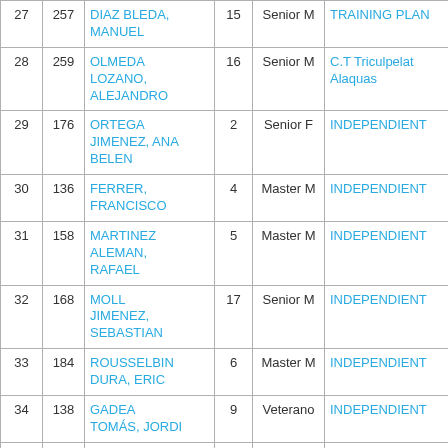| # | Bib | Name | Pos | Category | Club |
| --- | --- | --- | --- | --- | --- |
| 27 | 257 | DIAZ BLEDA, MANUEL | 15 | Senior M | TRAINING PLAN |
| 28 | 259 | OLMEDA LOZANO, ALEJANDRO | 16 | Senior M | C.T Triculpelat Alaquas |
| 29 | 176 | ORTEGA JIMENEZ, ANA BELEN | 2 | Senior F | INDEPENDIENT |
| 30 | 136 | FERRER, FRANCISCO | 4 | Master M | INDEPENDIENT |
| 31 | 158 | MARTINEZ ALEMAN, RAFAEL | 5 | Master M | INDEPENDIENT |
| 32 | 168 | MOLL JIMENEZ, SEBASTIAN | 17 | Senior M | INDEPENDIENT |
| 33 | 184 | ROUSSELBIN DURA, ERIC | 6 | Master M | INDEPENDIENT |
| 34 | 138 | GADEA TOMÁS, JORDI | 9 | Veterano | INDEPENDIENT |
| 35 | 178 | PATIÑO, REGIS J. | 18 | Senior M | INDEPENDIENT |
| 36 | 190 | SANCHEZ | 19 | Senior M | INDEPENDIENT |